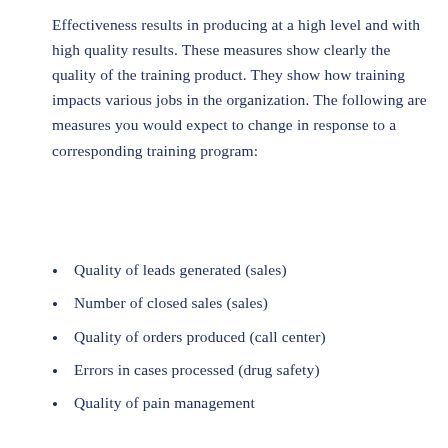Effectiveness results in producing at a high level and with high quality results. These measures show clearly the quality of the training product. They show how training impacts various jobs in the organization. The following are measures you would expect to change in response to a corresponding training program:
Quality of leads generated (sales)
Number of closed sales (sales)
Quality of orders produced (call center)
Errors in cases processed (drug safety)
Quality of pain management